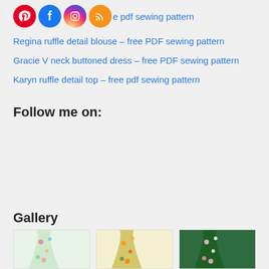[Figure (illustration): Social media icons (Pinterest, Facebook, Instagram, RSS) followed by partial link text ending in 'e pdf sewing pattern']
Regina ruffle detail blouse – free PDF sewing pattern
Gracie V neck buttoned dress – free PDF sewing pattern
Karyn ruffle detail top – free pdf sewing pattern
Follow me on:
Gallery
[Figure (photo): Three gallery images of floral patterned skirts: left is light blue/multicolor floral, center is yellow/green floral, right is dark green floral with white flowers]